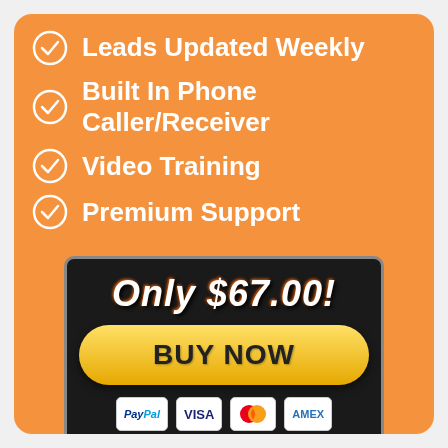Leads Updated Weekly
Built In Phone Caller/Receiver
Video Training
Premium Support
[Figure (other): Buy Now button panel with price 'Only $67.00!', a yellow BUY NOW button, payment logos for PayPal, Visa, Mastercard, Amex, and text 'Powered by JVZoo.com']